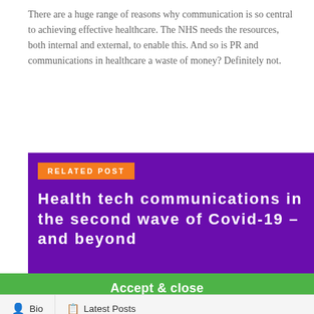There are a huge range of reasons why communication is so central to achieving effective healthcare. The NHS needs the resources, both internal and external, to enable this. And so is PR and communications in healthcare a waste of money? Definitely not.
[Figure (other): Purple related post box with orange 'RELATED POST' label and white bold title 'Health tech communications in the second wave of Covid-19 – and beyond']
We use cookies to help give you the best experience on our site and to show relevant information. If you continue to use our site, we'll assume that you're happy to receive all cookies. Learn more
Accept & close
Bio   Latest Posts